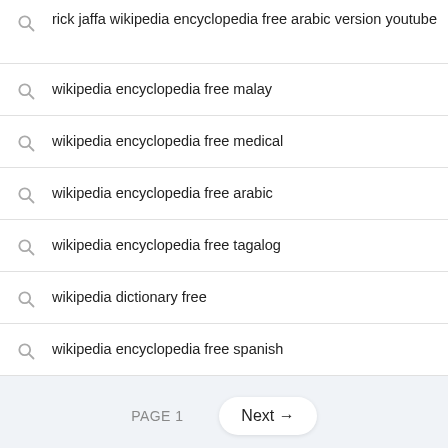rick jaffa wikipedia encyclopedia free arabic version youtube
wikipedia encyclopedia free malay
wikipedia encyclopedia free medical
wikipedia encyclopedia free arabic
wikipedia encyclopedia free tagalog
wikipedia dictionary free
wikipedia encyclopedia free spanish
PAGE 1
Next →